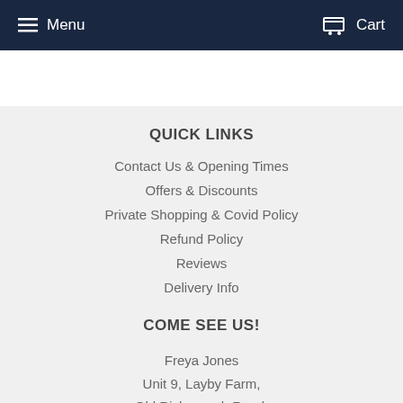Menu   Cart
QUICK LINKS
Contact Us & Opening Times
Offers & Discounts
Private Shopping & Covid Policy
Refund Policy
Reviews
Delivery Info
COME SEE US!
Freya Jones
Unit 9, Layby Farm,
Old Risborough Road,
Bucks